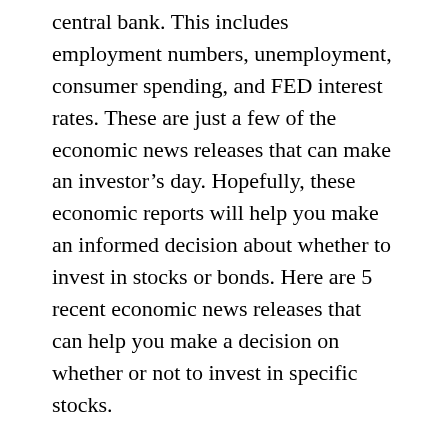central bank. This includes employment numbers, unemployment, consumer spending, and FED interest rates. These are just a few of the economic news releases that can make an investor's day. Hopefully, these economic reports will help you make an informed decision about whether to invest in stocks or bonds. Here are 5 recent economic news releases that can help you make a decision on whether or not to invest in specific stocks.
Purchasing managers' index (PMI) is a leading indicator of business conditions. It measures business conditions, including hiring plans, workforce size, and inventory levels. This index is often interpreted by market participants as an indicator of the health of the U.S.